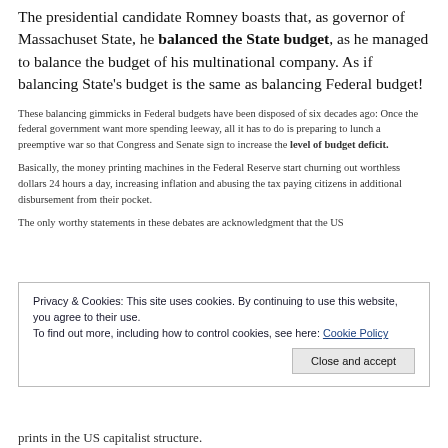The presidential candidate Romney boasts that, as governor of Massachuset State, he balanced the State budget, as he managed to balance the budget of his multinational company. As if balancing State's budget is the same as balancing Federal budget!
These balancing gimmicks in Federal budgets have been disposed of six decades ago: Once the federal government want more spending leeway, all it has to do is preparing to lunch a preemptive war so that Congress and Senate sign to increase the level of budget deficit.
Basically, the money printing machines in the Federal Reserve start churning out worthless dollars 24 hours a day, increasing inflation and abusing the tax paying citizens in additional disbursement from their pocket.
The only worthy statements in these debates are acknowledgment that the US
Privacy & Cookies: This site uses cookies. By continuing to use this website, you agree to their use.
To find out more, including how to control cookies, see here: Cookie Policy
Close and accept
prints in the US capitalist structure.